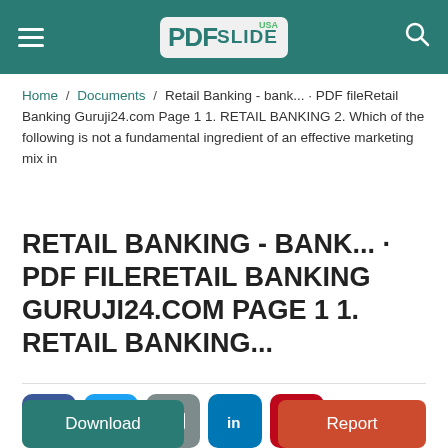PDFslide USA
Home / Documents / Retail Banking - bank... · PDF fileRetail Banking Guruji24.com Page 1 1. RETAIL BANKING 2. Which of the following is not a fundamental ingredient of an effective marketing mix in
RETAIL BANKING - BANK... · PDF FILERETAIL BANKING GURUJI24.COM PAGE 1 1. RETAIL BANKING...
[Figure (infographic): Social share buttons: Facebook, Twitter, Email, LinkedIn, Pinterest]
View 253 | Category Documents
Download | Report